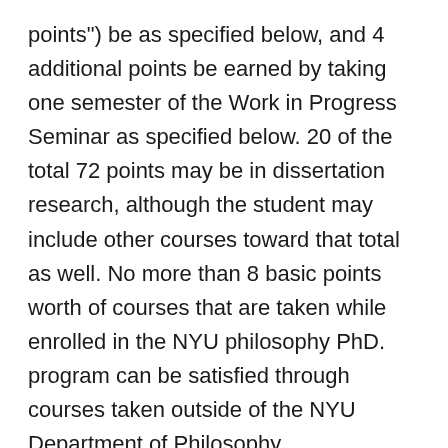points") be as specified below, and 4 additional points be earned by taking one semester of the Work in Progress Seminar as specified below. 20 of the total 72 points may be in dissertation research, although the student may include other courses toward that total as well. No more than 8 basic points worth of courses that are taken while enrolled in the NYU philosophy PhD. program can be satisfied through courses taken outside of the NYU Department of Philosophy.
Coursework: The required 48 basic points consist of the following:
1. Proseminar, PHIL-GA 1000, (8 points). This seminar is open to first year philosophy PhD.